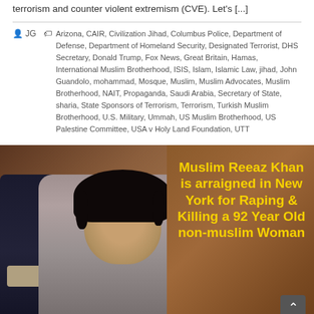terrorism and counter violent extremism (CVE). Let's [...]
JG | Arizona, CAIR, Civilization Jihad, Columbus Police, Department of Defense, Department of Homeland Security, Designated Terrorist, DHS Secretary, Donald Trump, Fox News, Great Britain, Hamas, International Muslim Brotherhood, ISIS, Islam, Islamic Law, jihad, John Guandolo, mohammad, Mosque, Muslim, Muslim Advocates, Muslim Brotherhood, NAIT, Propaganda, Saudi Arabia, Secretary of State, sharia, State Sponsors of Terrorism, Terrorism, Turkish Muslim Brotherhood, U.S. Military, Ummah, US Muslim Brotherhood, US Palestine Committee, USA v Holy Land Foundation, UTT
[Figure (photo): Photo of a young man being arraigned in New York, with an NYPD officer visible on the left. Overlaid yellow bold text reads: Muslim Reeaz Khan is arraigned in New York for Raping & Killing a 92 Year Old non-muslim Woman]